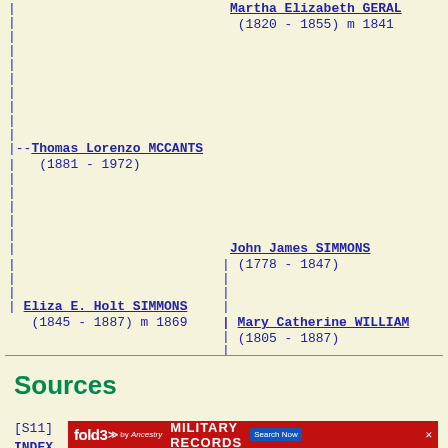[Figure (other): Genealogy pedigree/family tree chart showing ancestors: Martha Elizabeth GERAL (1820-1855) m 1841, Thomas Lorenzo MCCANTS (1881-1972), John James SIMMONS (1778-1847), Eliza E. Holt SIMMONS (1845-1887) m 1869, Mary Catherine WILLIAM (1805-1887)]
Sources
[S11]
[Figure (screenshot): Fold3 by Ancestry advertisement banner for Military Records with Search Now button]